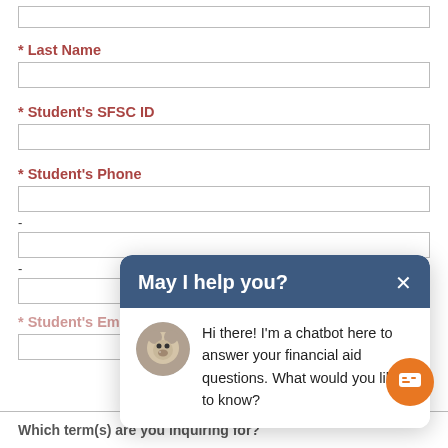* Last Name
* Student's SFSC ID
* Student's Phone
* Student's Email (Personal)
[Figure (screenshot): Chatbot popup with header 'May I help you?' and message: Hi there! I'm a chatbot here to answer your financial aid questions. What would you like to know?]
Which term(s) are you inquiring for?